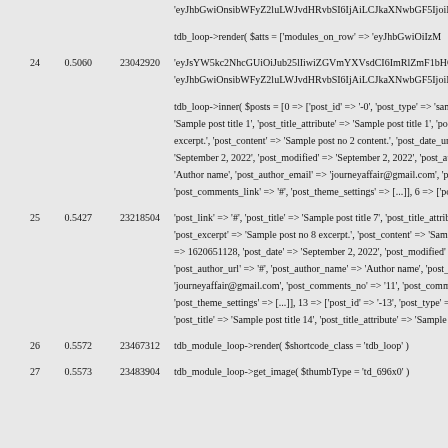| # | Score | ID | Code/Content |
| --- | --- | --- | --- |
|  |  |  | 'eyJhbGwiOnsibWFyZ2luLWJvdHRvbSI6IjAiLCJkaXNwbGF5IjoiIn0s... |
|  |  |  | tdb_loop->render( $atts = ['modules_on_row' => 'eyJhbGwiOiIzM... |
| 24 | 0.5060 | 23042920 | 'eyJsYW5kc2NhcGUiOiJub25lIiwiZGVmYXVsdCI6ImRlZmF1bHQifQ... |
|  |  |  | 'eyJhbGwiOnsibWFyZ2luLWJvdHRvbSI6IjAiLCJkaXNwbGF5IjoiIn0s... |
|  |  |  | tdb_loop->inner( $posts = [0 => ['post_id' => '-0', 'post_type' => 'samp... |
|  |  |  | 'Sample post title 1', 'post_title_attribute' => 'Sample post title 1', 'post... |
|  |  |  | excerpt.', 'post_content' => 'Sample post no 2 content.', 'post_date_unix... |
|  |  |  | 'September 2, 2022', 'post_modified' => 'September 2, 2022', 'post_auth... |
|  |  |  | 'Author name', 'post_author_email' => 'journeyaffair@gmail.com', 'post_... |
|  |  |  | 'post_comments_link' => '#', 'post_theme_settings' => [...]], 6 => ['pos... |
| 25 | 0.5427 | 23218504 | 'post_link' => '#', 'post_title' => 'Sample post title 7', 'post_title_attrib... |
|  |  |  | 'post_excerpt' => 'Sample post no 8 excerpt.', 'post_content' => 'Sample... |
|  |  |  | => 1620651128, 'post_date' => 'September 2, 2022', 'post_modified' =>... |
|  |  |  | 'post_author_url' => '#', 'post_author_name' => 'Author name', 'post_au... |
|  |  |  | 'journeyaffair@gmail.com', 'post_comments_no' => '11', 'post_commen... |
|  |  |  | 'post_theme_settings' => [...]], 13 => ['post_id' => '-13', 'post_type' =>... |
|  |  |  | 'post_title' => 'Sample post title 14', 'post_title_attribute' => 'Sample p... |
| 26 | 0.5572 | 23467312 | tdb_module_loop->render( $shortcode_class = 'tdb_loop' ) |
| 27 | 0.5573 | 23483904 | tdb_module_loop->get_image( $thumbType = 'td_696x0' ) |